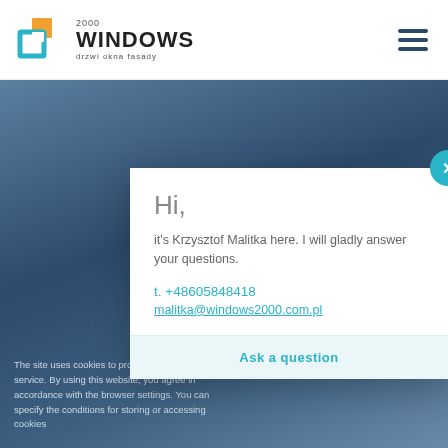[Figure (logo): Windows 2000 logo — cyan and orange overlapping rectangles icon with 'WINDOWS 2000' text and tagline 'drzwi okna fasady']
[Figure (illustration): Hamburger menu icon (three horizontal dark blue lines)]
[Figure (photo): Dark steel-blue gradient background representing a website hero image]
The site uses cookies to provide you this service. By using this website, you agree in accordance with the browser settings. You can specify the conditions for storing or accessing cookies
Hi,
it's Krzysztof Malitka here. I will gladly answer your questions.
t. +48605848418
malitka@windows2000.com.pl
Ask a question